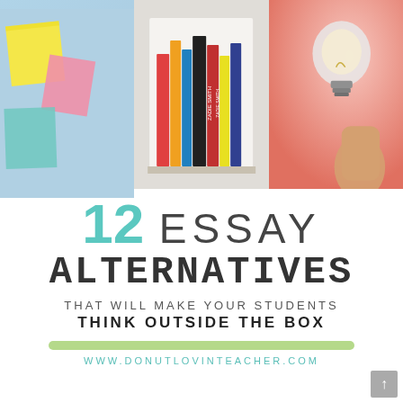[Figure (photo): Three photo collage: sticky notes on blue wall, colorful books on shelf, hand holding light bulb on pink/coral background]
12 ESSAY ALTERNATIVES THAT WILL MAKE YOUR STUDENTS THINK OUTSIDE THE BOX
WWW.DONUTLOVINTEACHER.COM